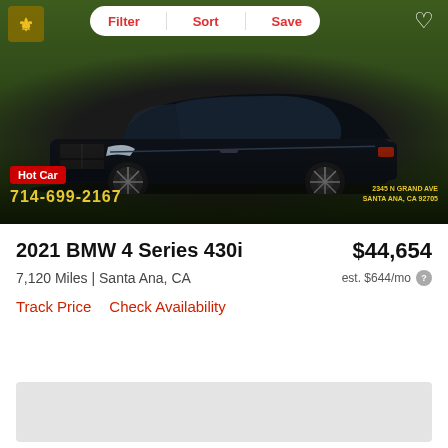Filter | Sort | Save
[Figure (photo): Black 2021 BMW 4 Series 430i coupe parked in front of green hedge wall at California Cars Direct dealership. Hot Car badge visible at bottom left. Phone number 714-699-2167 and address 2345 N Grand Ave, Santa Ana, CA visible.]
2021 BMW 4 Series 430i
$44,654
7,120 Miles | Santa Ana, CA
est. $644/mo
Track Price    Check Availability